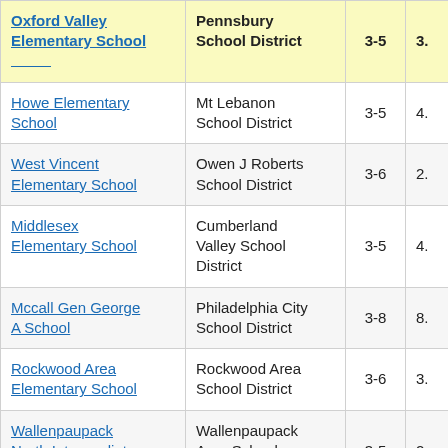| School | District | Grades | Score |
| --- | --- | --- | --- |
| Oxford Valley Elementary School | Pennsbury School District | 3-5 | 3. |
| Howe Elementary School | Mt Lebanon School District | 3-5 | 4. |
| West Vincent Elementary School | Owen J Roberts School District | 3-6 | 2. |
| Middlesex Elementary School | Cumberland Valley School District | 3-5 | 4. |
| Mccall Gen George A School | Philadelphia City School District | 3-8 | 8. |
| Rockwood Area Elementary School | Rockwood Area School District | 3-6 | 3. |
| Wallenpaupack North Intermediate School | Wallenpaupack Area School District | 3-5 | 2. |
| Tinicum School | Interboro School | 3-8 |  |